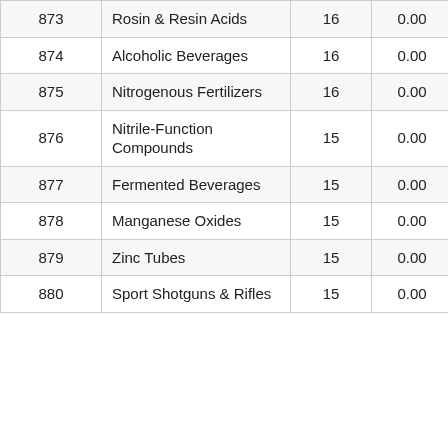| 873 | Rosin & Resin Acids | 16 | 0.00 | 558.37 |
| 874 | Alcoholic Beverages | 16 | 0.00 | -76.60 |
| 875 | Nitrogenous Fertilizers | 16 | 0.00 | -90.29 |
| 876 | Nitrile-Function Compounds | 15 | 0.00 | -57.60 |
| 877 | Fermented Beverages | 15 | 0.00 | 1,705.13 |
| 878 | Manganese Oxides | 15 | 0.00 | 49.47 |
| 879 | Zinc Tubes | 15 | 0.00 | -43.48 |
| 880 | Sport Shotguns & Rifles | 15 | 0.00 | -35.27 |